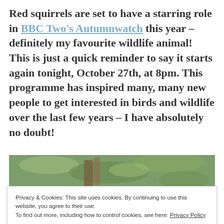Red squirrels are set to have a starring role in BBC Two's Autumnwatch this year – definitely my favourite wildlife animal! This is just a quick reminder to say it starts again tonight, October 27th, at 8pm. This programme has inspired many, many new people to get interested in birds and wildlife over the last few years – I have absolutely no doubt!
[Figure (photo): Photograph of a red squirrel in a tree with green foliage background]
Privacy & Cookies: This site uses cookies. By continuing to use this website, you agree to their use.
To find out more, including how to control cookies, see here: Privacy Policy
Close and accept